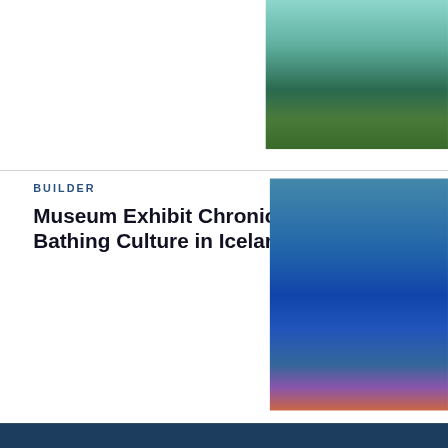[Figure (photo): Aerial or overhead view of a pool with turquoise water and wooden deck area with greenery, partially visible at top right]
BUILDER
Museum Exhibit Chronicles Bathing Culture in Iceland
[Figure (photo): Interior of a museum exhibit with blue walls and floors, showcasing bathing culture in Iceland, with display panels and objects]
This website uses cookies to ensure you get the best experience on our website.
Learn more
Got it!
[Figure (photo): Nighttime photo of a building with warm interior lighting visible through windows, partially cut off at right edge]
MORE IN BUILDER